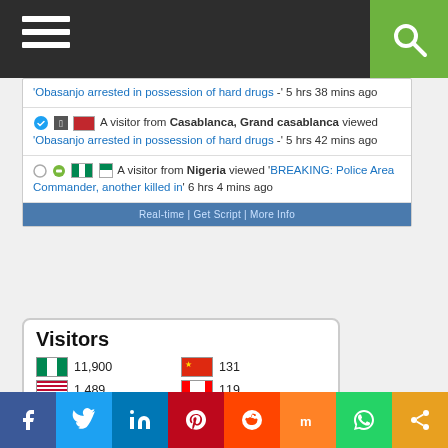[Figure (screenshot): Top navigation bar with hamburger menu icon and green search button]
A visitor from Casablanca, Grand casablanca viewed 'Obasanjo arrested in possession of hard drugs' - 5 hrs 42 mins ago
A visitor from Nigeria viewed 'BREAKING: Police Area Commander, another killed in' 6 hrs 4 mins ago
[Figure (screenshot): Visitors flag counter widget showing: Nigeria 11,900 | China 131 | USA 1,489 | Canada 119 | UK 408 | Germany 114 | South Africa 290 | Norway 67 | Ireland 216 | Ghana 47]
[Figure (screenshot): Social share bar with Facebook, Twitter, LinkedIn, Pinterest, Reddit, Mix, WhatsApp, and share buttons]